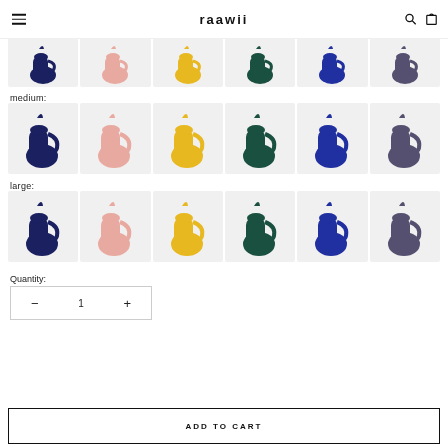raawii
[Figure (photo): Row of colorful ceramic pitchers (partial, top cropped): navy, pink, yellow, teal, blue, slate]
medium:
[Figure (photo): Row of medium ceramic pitchers in 6 colors: navy, pink, yellow, teal, blue, slate]
large:
[Figure (photo): Row of large ceramic pitchers in 6 colors: navy, pink, yellow, teal, blue, slate]
Quantity:
1
ADD TO CART